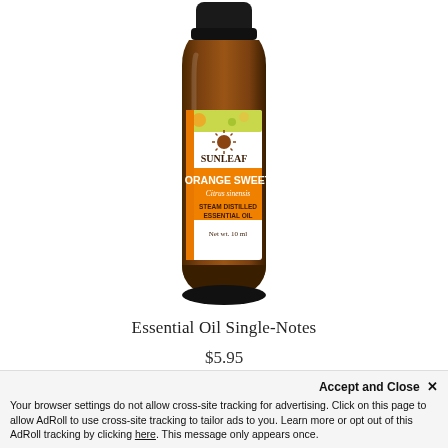[Figure (photo): A small amber glass bottle of SunLeaf Orange Sweet Essential Oil (Citrus sinensis), Steam Distilled Essential Oil, Net wt. 10 ml, with orange and white label, black cap]
Essential Oil Single-Notes
$5.95
Accept and Close ✕
Your browser settings do not allow cross-site tracking for advertising. Click on this page to allow AdRoll to use cross-site tracking to tailor ads to you. Learn more or opt out of this AdRoll tracking by clicking here. This message only appears once.